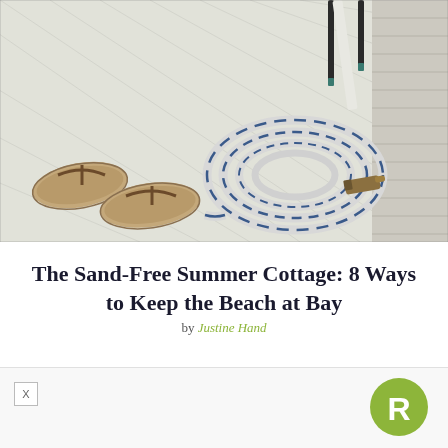[Figure (photo): Photo of a white painted wooden deck with diagonal plank lines. On the left are a pair of tan/beige leather flip-flop sandals. In the center-right is a coiled white garden hose with blue stripe, with a brass nozzle end. On the right is a white shiplap wall. Metal chair legs visible at top.]
The Sand-Free Summer Cottage: 8 Ways to Keep the Beach at Bay
by Justine Hand